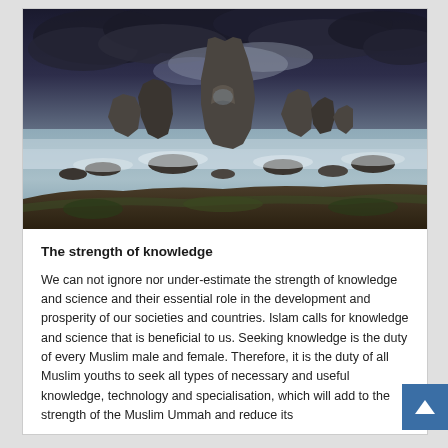[Figure (photo): Dramatic seascape photograph showing large rocky sea stacks rising from turbulent water with dark storm clouds overhead and misty long-exposure water at base]
The strength of knowledge
We can not ignore nor under-estimate the strength of knowledge and science and their essential role in the development and prosperity of our societies and countries. Islam calls for knowledge and science that is beneficial to us. Seeking knowledge is the duty of every Muslim male and female. Therefore, it is the duty of all Muslim youths to seek all types of necessary and useful knowledge, technology and specialisation, which will add to the strength of the Muslim Ummah and reduce its